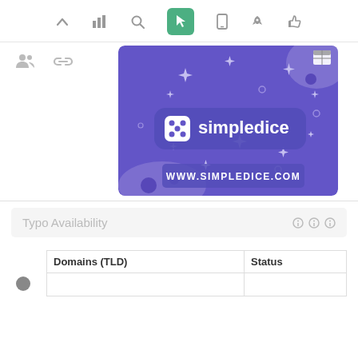[Figure (screenshot): Web application toolbar with icons: caret up, bar chart, search, cursor/pointer (active, green background), mobile phone, rocket, thumbs up]
[Figure (screenshot): Two icons: people/group icon and chain/link icon]
[Figure (illustration): Simpledice.com advertisement banner with purple/indigo background, sparkles/stars decorative elements, dice icon, 'simpledice' logo text in white, and 'WWW.SIMPLEDICE.COM' text at the bottom]
Typo Availability
| Domains (TLD) | Status |
| --- | --- |